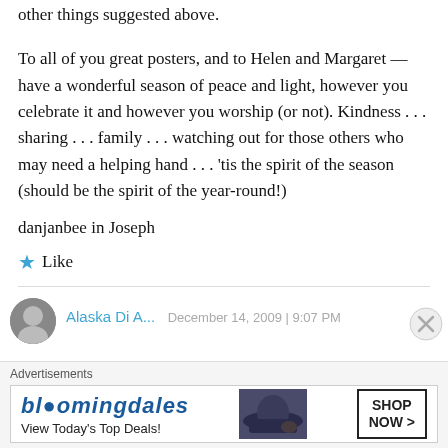other things suggested above.
To all of you great posters, and to Helen and Margaret — have a wonderful season of peace and light, however you celebrate it and however you worship (or not). Kindness . . . sharing . . . family . . . watching out for those others who may need a helping hand . . . 'tis the spirit of the season (should be the spirit of the year-round!)
danjanbee in Joseph
★ Like
[Figure (other): Bloomingdale's advertisement with hat photo, 'View Today's Top Deals!' text and 'SHOP NOW >' button]